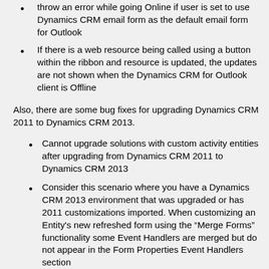throw an error while going Online if user is set to use Dynamics CRM email form as the default email form for Outlook
If there is a web resource being called using a button within the ribbon and resource is updated, the updates are not shown when the Dynamics CRM for Outlook client is Offline
Also, there are some bug fixes for upgrading Dynamics CRM 2011 to Dynamics CRM 2013.
Cannot upgrade solutions with custom activity entities after upgrading from Dynamics CRM 2011 to Dynamics CRM 2013
Consider this scenario where you have a Dynamics CRM 2013 environment that was upgraded or has 2011 customizations imported. When customizing an Entity's new refreshed form using the "Merge Forms" functionality some Event Handlers are merged but do not appear in the Form Properties Event Handlers section